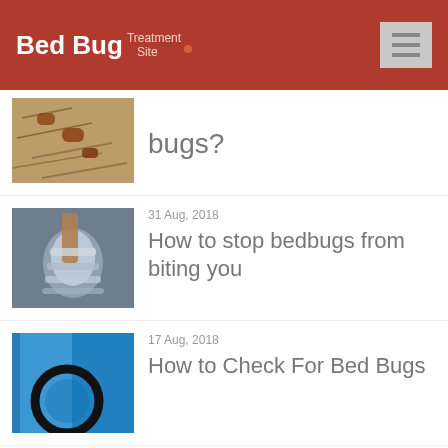Bed Bug Treatment Site
[Figure (photo): Close-up photo of bed bug infestation in fibrous material]
bugs?
31 Aug, 2018
[Figure (photo): Close-up photo of metallic mechanical parts]
How to stop bedbugs from biting you
17 Aug, 2018
[Figure (photo): Blue light with circular lens/ring on door]
How to Check For Bed Bugs
03 Aug, 2018
[Figure (photo): Partial photo of bed/pillow]
Bed Bug C...